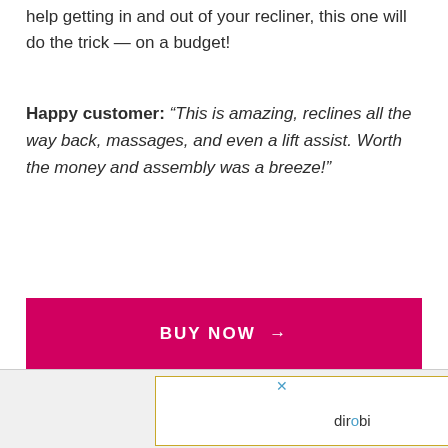help getting in and out of your recliner, this one will do the trick — on a budget!
Happy customer: “This is amazing, reclines all the way back, massages, and even a lift assist. Worth the money and assembly was a breeze!”
[Figure (other): Pink BUY NOW button with arrow]
[Figure (other): dirobi advertisement banner with gold border and close button]